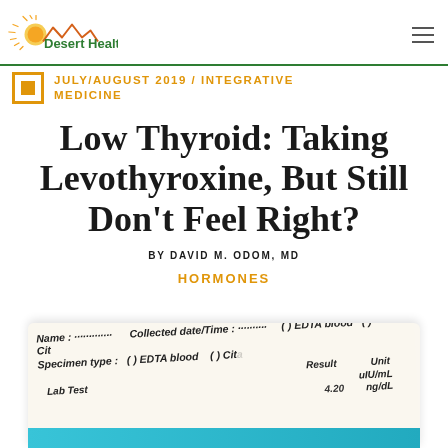Desert Health
JULY/AUGUST 2019 / INTEGRATIVE MEDICINE
Low Thyroid: Taking Levothyroxine, But Still Don't Feel Right?
BY DAVID M. ODOM, MD
HORMONES
[Figure (photo): A lab test form showing fields: Name, Collected date/Time, Specimen type with checkboxes for EDTA blood and Citrate, columns for Lab Test, Result, and Unit (uIU/mL, ng/dL). Partial value 4.20 visible.]